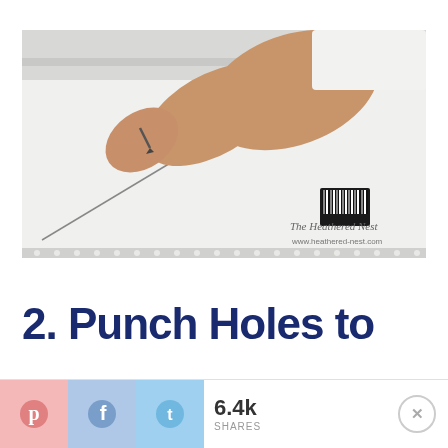[Figure (photo): A person's arm/hand using a sharp tool (awl or nail) to punch a hole through a large white foam or poster board sheet, with a diagonal line scored across it. A barcode label is visible in the lower right of the board. Watermark reads 'The Heathered Nest www.heathered-nest.com']
2. Punch Holes to
[Figure (infographic): Social sharing bar with Pinterest, Facebook, and Twitter buttons, showing 6.4k SHARES, and a close (X) button]